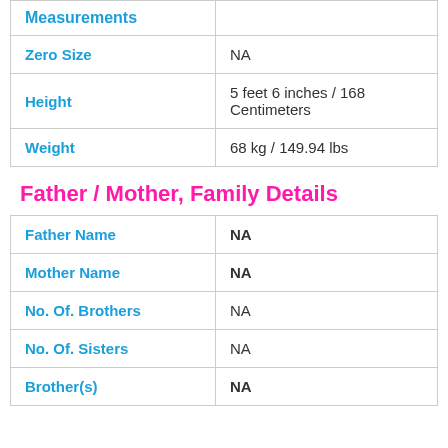| Measurements |  |
| --- | --- |
| Zero Size | NA |
| Height | 5 feet 6 inches / 168 Centimeters |
| Weight | 68 kg / 149.94 lbs |
Father / Mother, Family Details
| Father Name | NA |
| Mother Name | NA |
| No. Of. Brothers | NA |
| No. Of. Sisters | NA |
| Brother(s) | NA |